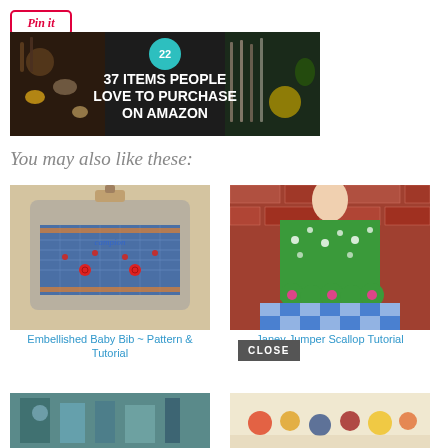[Figure (logo): Pin it button - red outlined rounded rectangle with italic red text 'Pin it']
[Figure (infographic): Dark banner ad: '37 ITEMS PEOPLE LOVE TO PURCHASE ON AMAZON' with teal badge showing '22', dark background with kitchen items]
You may also like these:
[Figure (photo): Embellished baby bib with blue and orange smocking, red buttons, on a wooden hanger]
Embellished Baby Bib ~ Pattern & Tutorial
[Figure (photo): Janey Jumper with green scallop trim and blue gingham fabric on a mannequin, brick background]
Janey Jumper Scallop Tutorial
[Figure (photo): Bottom left partial thumbnail - teal/blue tones]
[Figure (photo): Bottom right partial thumbnail - light warm tones with small items]